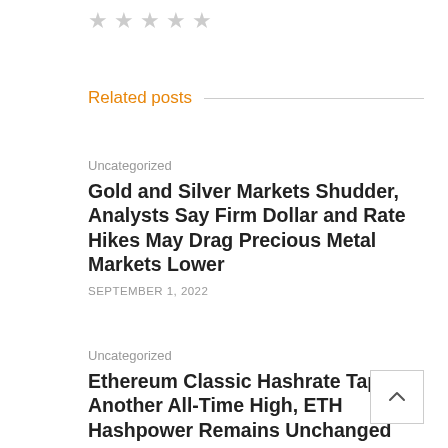[Figure (other): Five gray star rating icons in a row]
Related posts
Uncategorized
Gold and Silver Markets Shudder, Analysts Say Firm Dollar and Rate Hikes May Drag Precious Metal Markets Lower
SEPTEMBER 1, 2022
Uncategorized
Ethereum Classic Hashrate Taps Another All-Time High, ETH Hashpower Remains Unchanged